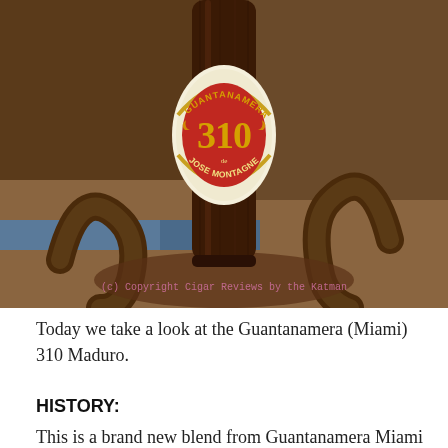[Figure (photo): A Guantanamera 310 Jose Montagne cigar standing upright in a rustic metal cigar holder/ashtray. The cigar has a dark maduro wrapper and a cream, red, and gold band reading 'GUANTANAMERA 310 JOSE MONTAGNE'. A watermark reads '(c) Copyright Cigar Reviews by the Katman'.]
Today we take a look at the Guantanamera (Miami) 310 Maduro.
HISTORY:
This is a brand new blend from Guantanamera Miami